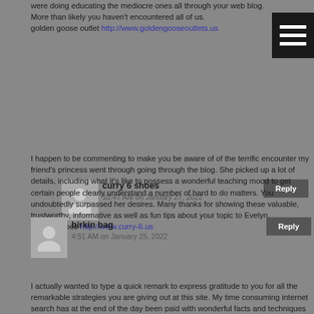were doing educating the mediocre ones all through your web blog. More than likely you haven't encountered all of us.
golden goose outlet http://www.goldengooseoutlets.us
curry 6 shoes
10:47 AM on January 27, 2022
I happen to be commenting to make you be aware of of the terrific encounter my friend's princess went through going through the blog. She picked up a lot of details, including what it's like to possess a wonderful teaching mood to get certain people clearly understand a number of hard to do matters. You undoubtedly surpassed her desires. Many thanks for showing these valuable, trustworthy, informative as well as fun tips about your topic to Evelyn.
curry 6 shoes http://www.curry-6.us
birkin bag
4:51 AM on January 25, 2022
I actually wanted to type a quick remark to express gratitude to you for all the remarkable strategies you are giving out at this site. My time consuming internet search has at the end of the day been paid with wonderful facts and techniques to share with my partners. I 'd point out that most of us site visitors actually are very fortunate to be in a great place with so many marvellous individuals with good strategies. I feel really blessed to have come across the website and look forward to tons of more thrilling minutes reading here. Thank